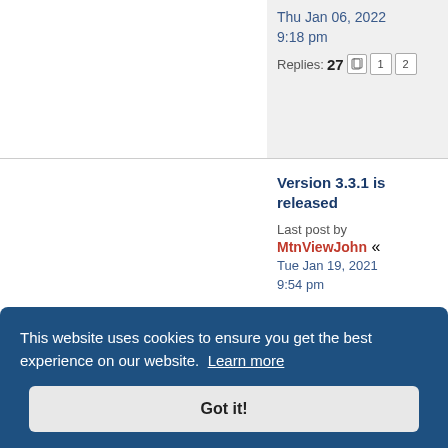Thu Jan 06, 2022 9:18 pm
Replies: 27  [page icon] 1 2
Version 3.3.1 is released
Last post by MtnViewJohn « Tue Jan 19, 2021 9:54 pm
Version 3.3 is released
Last post by [username] « [date] 10:26 am
Version 3.2 is released
Last post by
This website uses cookies to ensure you get the best experience on our website. Learn more
Got it!